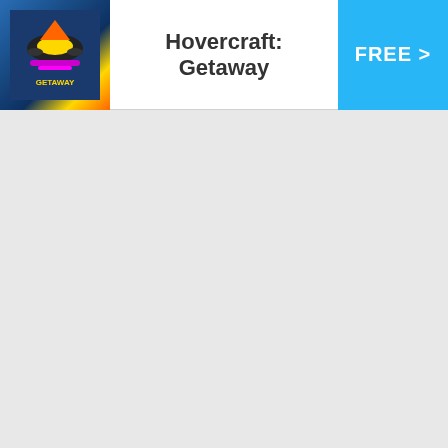[Figure (logo): Hovercraft Getaway app icon showing a hovercraft/spaceship graphic with yellow and blue colors on dark background with GETAWAY text]
Hovercraft: Getaway
[Figure (other): FREE > button in cyan/light blue color with white bold text and chevron arrow]